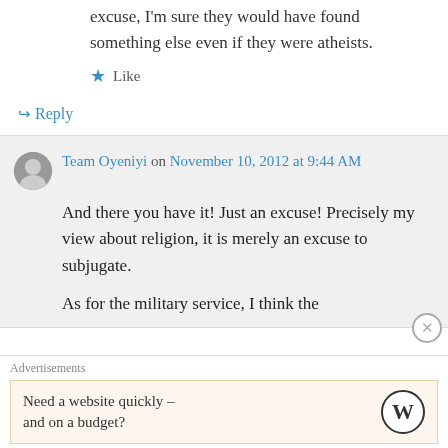excuse, I'm sure they would have found something else even if they were atheists.
Like
↳ Reply
Team Oyeniyi on November 10, 2012 at 9:44 AM
And there you have it! Just an excuse! Precisely my view about religion, it is merely an excuse to subjugate.

As for the military service, I think the
Advertisements
Need a website quickly – and on a budget?